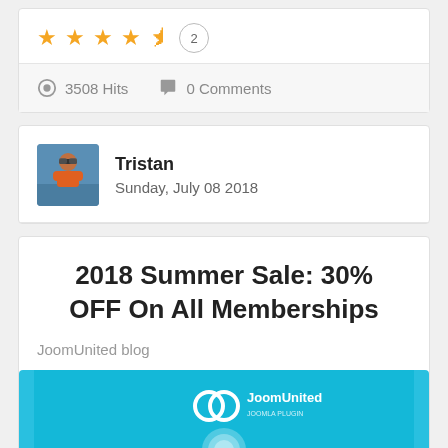[Figure (other): Star rating: 4.5 out of 5 stars with review count badge showing 2]
3508 Hits   0 Comments
[Figure (photo): Author avatar photo of Tristan wearing sunglasses and orange shirt outdoors]
Tristan
Sunday, July 08 2018
2018 Summer Sale: 30% OFF On All Memberships
JoomUnited blog
[Figure (logo): JoomUnited logo on cyan/blue background with circular icon]